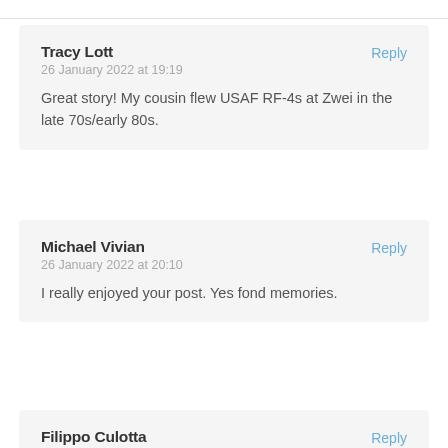Tracy Lott
26 January 2022 at 19:19

Great story! My cousin flew USAF RF-4s at Zwei in the late 70s/early 80s.
Michael Vivian
26 January 2022 at 20:10

I really enjoyed your post. Yes fond memories.
Filippo Culotta
30 January 2022 at 23:03

What other airplane could have made this story so compelling if not the